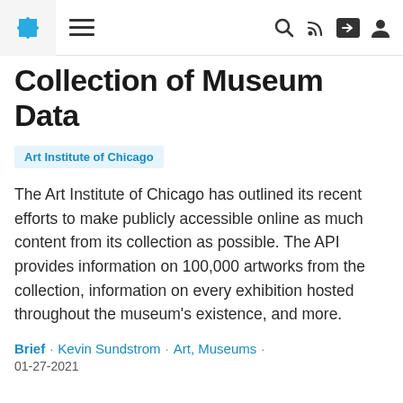[Navigation bar with puzzle logo, hamburger menu, search, RSS, share, and profile icons]
Collection of Museum Data
Art Institute of Chicago
The Art Institute of Chicago has outlined its recent efforts to make publicly accessible online as much content from its collection as possible. The API provides information on 100,000 artworks from the collection, information on every exhibition hosted throughout the museum's existence, and more.
Brief · Kevin Sundstrom · Art, Museums · 01-27-2021